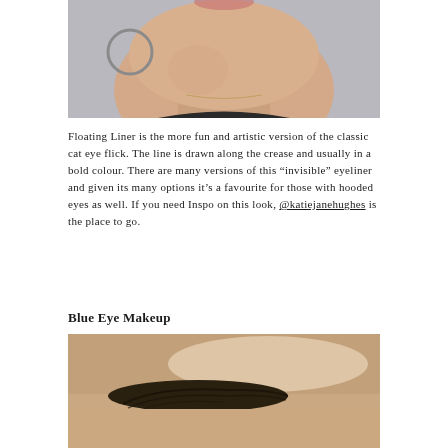[Figure (photo): Close-up photo of a woman's lower face and neck, wearing a hoop earring, with light skin and a slight smile, against a grey background.]
Floating Liner is the more fun and artistic version of the classic cat eye flick. The line is drawn along the crease and usually in a bold colour. There are many versions of this "invisible" eyeliner and given its many options it's a favourite for those with hooded eyes as well. If you need Inspo on this look, @katiejanehughes is the place to go.
Blue Eye Makeup
[Figure (photo): Close-up photo of an eye area showing an eyebrow and surrounding skin with light shimmer highlight, on medium skin tone.]